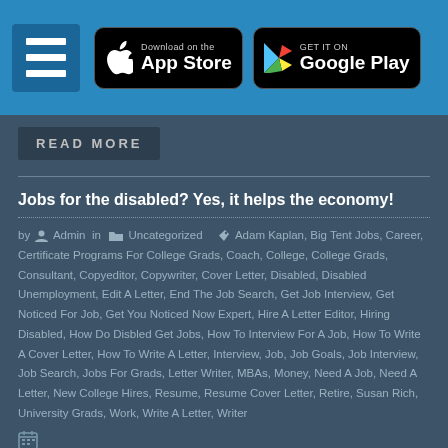App Store | Google Play download buttons with hamburger menu
READ MORE
Jobs for the disabled? Yes, it helps the economy!
by Admin in Uncategorized — Adam Kaplan, Big Tent Jobs, Career, Certificate Programs For College Grads, Coach, College, College Grads, Consultant, Copyeditor, Copywriter, Cover Letter, Disabled, Disabled Unemployment, Edit A Letter, End The Job Search, Get Job Interview, Get Noticed For Job, Get You Noticed Now Expert, Hire A Letter Editor, Hiring Disabled, How Do Disbled Get Jobs, How To Interview For A Job, How To Write A Cover Letter, How To Write A Letter, Interview, Job, Job Goals, Job Interview, Job Search, Jobs For Grads, Letter Writer, MBAs, Money, Need A Job, Need A Letter, New College Hires, Resume, Resume Cover Letter, Retire, Susan Rich, University Grads, Work, Write A Letter, Writer